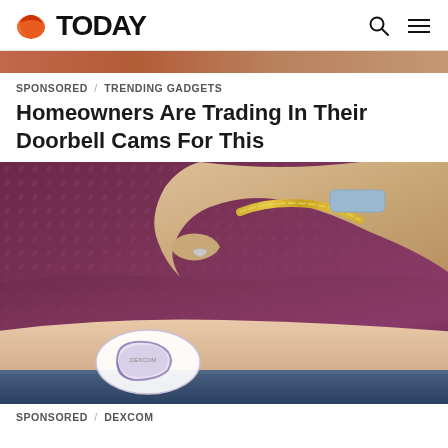TODAY
[Figure (photo): Horizontal strip showing partial orange/brown toned image at top of page]
SPONSORED / TRENDING GADGETS
Homeowners Are Trading In Their Doorbell Cams For This
[Figure (photo): Person in dark maroon/burgundy patterned top lifting shirt to reveal a Dexcom CGM sensor device on their abdomen, wearing a gold chain bracelet and gray smartwatch band]
SPONSORED / DEXCOM